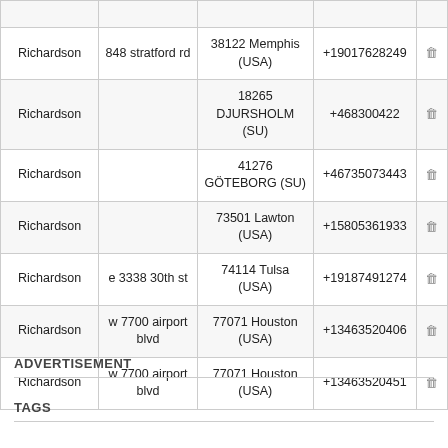| Name | Street | City/Zip | Phone |  |
| --- | --- | --- | --- | --- |
| Richardson | 848 stratford rd | 38122 Memphis (USA) | +19017628249 | 🗑 |
| Richardson |  | 18265 DJURSHOLM (SU) | +468300422 | 🗑 |
| Richardson |  | 41276 GÖTEBORG (SU) | +46735073443 | 🗑 |
| Richardson |  | 73501 Lawton (USA) | +15805361933 | 🗑 |
| Richardson | e 3338 30th st | 74114 Tulsa (USA) | +19187491274 | 🗑 |
| Richardson | w 7700 airport blvd | 77071 Houston (USA) | +13463520406 | 🗑 |
| Richardson | w 7700 airport blvd | 77071 Houston (USA) | +13463520451 | 🗑 |
ADVERTISEMENT
TAGS